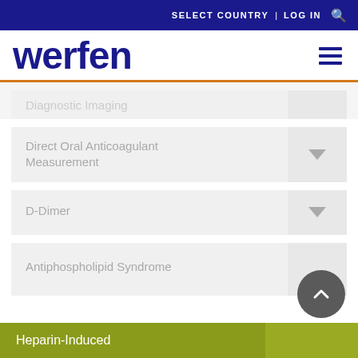SELECT COUNTRY | LOG IN
[Figure (logo): Werfen company logo in dark blue with hamburger menu icon]
Direct Oral Anticoagulant Measurement
D-Dimer
Antiphospholipid Syndrome
Heparin-Induced